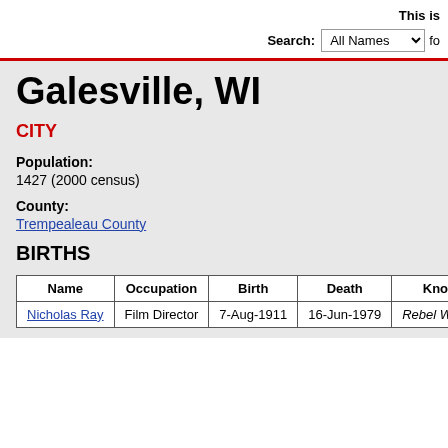This is
Search: All Names for
Galesville, WI
CITY
Population:
1427 (2000 census)
County:
Trempealeau County
BIRTHS
| Name | Occupation | Birth | Death | Known f |
| --- | --- | --- | --- | --- |
| Nicholas Ray | Film Director | 7-Aug-1911 | 16-Jun-1979 | Rebel Without a |